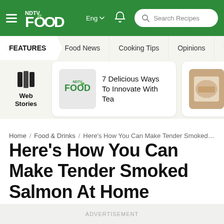NDTV Food | Eng | Search Recipes
FEATURES | Food News | Cooking Tips | Opinions | World Cuisine
[Figure (screenshot): Web Stories section with two story cards: '7 Delicious Ways To Innovate With Tea' and 'Street-Style Masala Pa... Recipe']
Home / Food & Drinks / Here’s How You Can Make Tender Smoked Salmo…
Here’s How You Can Make Tender Smoked Salmon At Home
ADVERTISEMENT